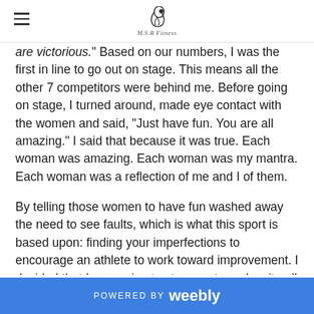M.S.B Fitness logo and navigation
are victorious." Based on our numbers, I was the first in line to go out on stage. This means all the other 7 competitors were behind me. Before going on stage, I turned around, made eye contact with the women and said, "Just have fun. You are all amazing." I said that because it was true. Each woman was amazing. Each woman was my mantra. Each woman was a reflection of me and I of them.
By telling those women to have fun washed away the need to see faults, which is what this sport is based upon: finding your imperfections to encourage an athlete to work toward improvement. I decided that I was going to step on stage despite all my faults. I decided I was going on stage for all women
POWERED BY weebly